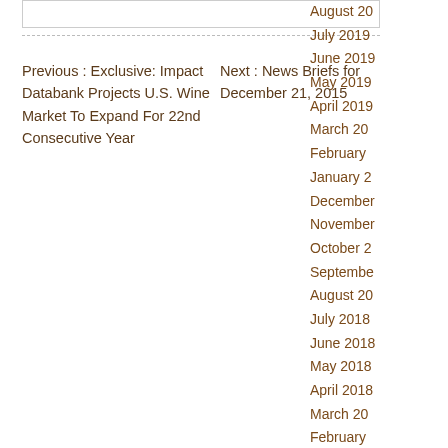Previous : Exclusive: Impact Databank Projects U.S. Wine Market To Expand For 22nd Consecutive Year
Next : News Briefs for December 21, 2015
August 20
July 2019
June 2019
May 2019
April 2019
March 20
February
January 2
December
November
October 2
September
August 20
July 2018
June 2018
May 2018
April 2018
March 20
February
January 2
December
November